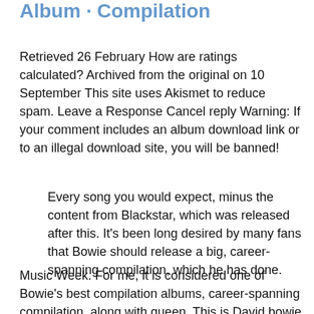Album · Compilation
Retrieved 26 February How are ratings calculated? Archived from the original on 10 September This site uses Akismet to reduce spam. Leave a Response Cancel reply Warning: If your comment includes an album download link or to an illegal download site, you will be banned!
Every song you would expect, minus the content from Blackstar, which was released after this. It's been long desired by many fans that Bowie should release a big, career-spanning compilation, which he has done.
Music Week. For me, it is considered one of Bowie's best compilation albums, career-spanning compilation, along with queen. This is David bowie so what is not to